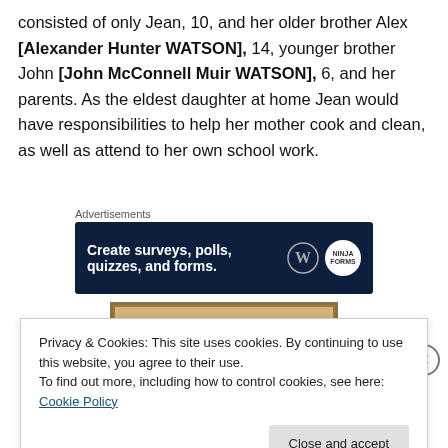consisted of only Jean, 10, and her older brother Alex [Alexander Hunter WATSON], 14, younger brother John [John McConnell Muir WATSON], 6, and her parents. As the eldest daughter at home Jean would have responsibilities to help her mother cook and clean, as well as attend to her own school work.
Advertisements
[Figure (other): Advertisement banner with dark navy background: 'Create surveys, polls, quizzes, and forms.' with WordPress and NinjaForms icons]
[Figure (photo): Partial image with tan/beige border frame visible]
Privacy & Cookies: This site uses cookies. By continuing to use this website, you agree to their use.
To find out more, including how to control cookies, see here: Cookie Policy